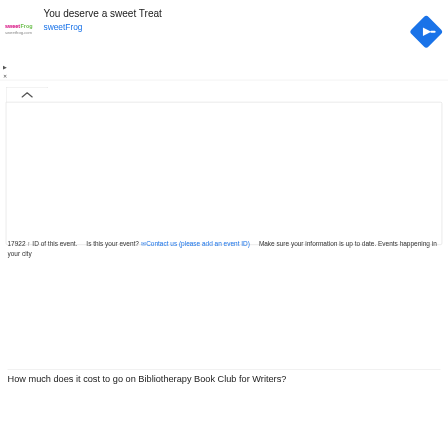[Figure (screenshot): SweetFrog advertisement banner with logo, headline 'You deserve a sweet Treat', brand name 'sweetFrog', and a blue diamond-shaped navigation arrow icon on the right.]
[Figure (screenshot): A collapsed UI panel with an up-arrow (caret) tab and a large empty white box below it.]
17922 ↑ ID of this event.    Is this your event? ✉Contact us (please add an event ID)    Make sure your information is up to date. Events happening in your city
How much does it cost to go on Bibliotherapy Book Club for Writers?